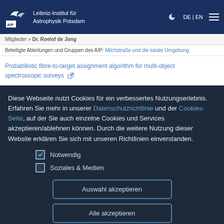[Figure (logo): Leibniz-Institut für Astrophysik Potsdam (AIP) logo with bird icon]
Leibniz-Institut für Astrophysik Potsdam | DE | EN
Mitglieder » Dr. Roelof de Jong
Beteiligte Abteilungen und Gruppen des AIP: Milchstraße und die lokale Umgebung
Probabilistic fibre-to-target assignment algorithm for multi-object spectroscopic surveys
Diese Webseite nutzt Cookies für ein verbessertes Nutzungserlebnis. Erfahren Sie mehr in unserer Datenschutzrichtlinie und der Cookies-Seite, auf der Sie auch einzelne Cookies und Services akzeptieren/ablehnen können. Durch die weitere Nutzung dieser Website erklären Sie sich mit unseren Richtlinien einverstanden.
Notwendig
Soziales & Medien
Auswahl akzeptieren
Alle akzeptieren